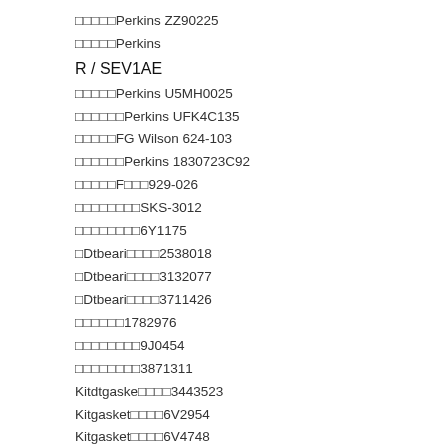□□□□□Perkins ZZ90225
□□□□□Perkins
R / SEV1AE
□□□□□Perkins U5MH0025
□□□□□□Perkins UFK4C135
□□□□□FG Wilson 624-103
□□□□□□Perkins 1830723C92
□□□□□F□□□929-026
□□□□□□□□SKS-3012
□□□□□□□□6Y1175
□Dtbeari□□□□2538018
□Dtbeari□□□□3132077
□Dtbeari□□□□3711426
□□□□□□1782976
□□□□□□□□9J0454
□□□□□□□□3871311
Kitdtgaske□□□□3443523
Kitgasket□□□□6V2954
Kitgasket□□□□6V4748